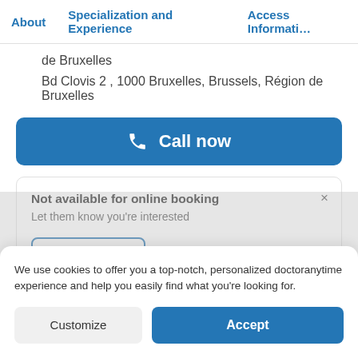About    Specialization and Experience    Access Informati…
de Bruxelles
Bd Clovis 2 , 1000 Bruxelles, Brussels, Région de Bruxelles
[Figure (screenshot): Blue 'Call now' button with phone icon]
Not available for online booking
Let them know you're interested
[Figure (screenshot): Send request button with blue border]
We use cookies to offer you a top-notch, personalized doctoranytime experience and help you easily find what you're looking for.
[Figure (screenshot): Customize and Accept cookie consent buttons]